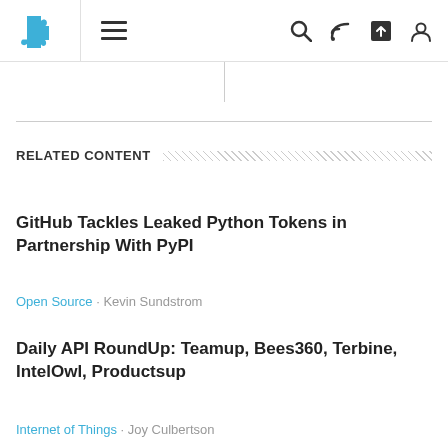Navigation bar with puzzle logo, hamburger menu, search, RSS, share, and user icons
RELATED CONTENT
GitHub Tackles Leaked Python Tokens in Partnership With PyPI
Open Source · Kevin Sundstrom
Daily API RoundUp: Teamup, Bees360, Terbine, IntelOwl, Productsup
Internet of Things · Joy Culbertson